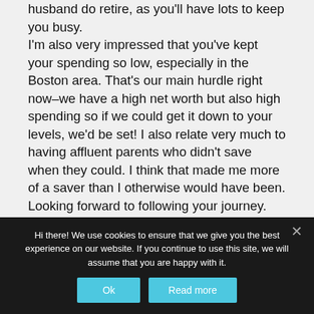husband do retire, as you'll have lots to keep you busy.
I'm also very impressed that you've kept your spending so low, especially in the Boston area. That's our main hurdle right now–we have a high net worth but also high spending so if we could get it down to your levels, we'd be set! I also relate very much to having affluent parents who didn't save when they could. I think that made me more of a saver than I otherwise would have been.
Looking forward to following your journey.
Hi there! We use cookies to ensure that we give you the best experience on our website. If you continue to use this site, we will assume that you are happy with it.